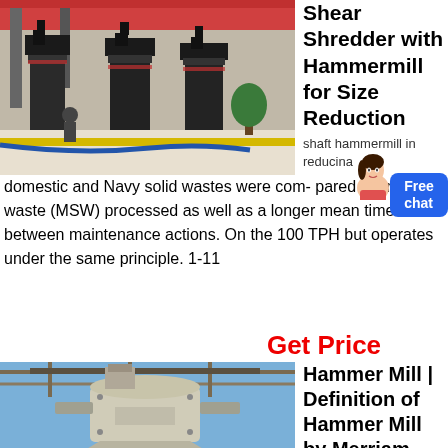[Figure (photo): Industrial shredder/hammermill machines on factory floor with pillars and equipment]
Shear Shredder with Hammermill for Size Reduction
shaft hammermill in reducing
domestic and Navy solid wastes were com- pared over m waste (MSW) processed as well as a longer mean time between maintenance actions. On the 100 TPH but operates under the same principle. 1-11
Get Price
[Figure (photo): Large industrial hammer mill machine outdoors under metal roof structure]
Hammer Mill | Definition of Hammer Mill by Merriam-